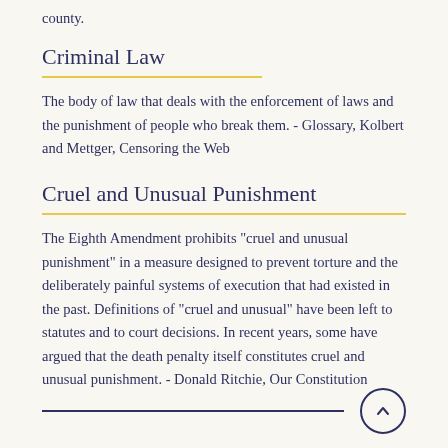county.
Criminal Law
The body of law that deals with the enforcement of laws and the punishment of people who break them. - Glossary, Kolbert and Mettger, Censoring the Web
Cruel and Unusual Punishment
The Eighth Amendment prohibits "cruel and unusual punishment" in a measure designed to prevent torture and the deliberately painful systems of execution that had existed in the past. Definitions of "cruel and unusual" have been left to statutes and to court decisions. In recent years, some have argued that the death penalty itself constitutes cruel and unusual punishment. - Donald Ritchie, Our Constitution
↑